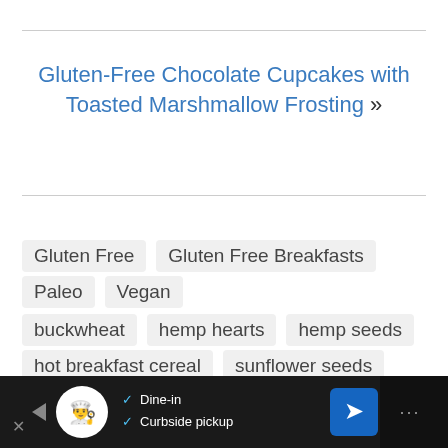Gluten-Free Chocolate Cupcakes with Toasted Marshmallow Frosting »
Gluten Free
Gluten Free Breakfasts
Paleo
Vegan
buckwheat
hemp hearts
hemp seeds
hot breakfast cereal
sunflower seeds
vegan
[Figure (screenshot): Advertisement bar at bottom: Dine-in and Curbside pickup options with chef logo and navigation arrow icon]